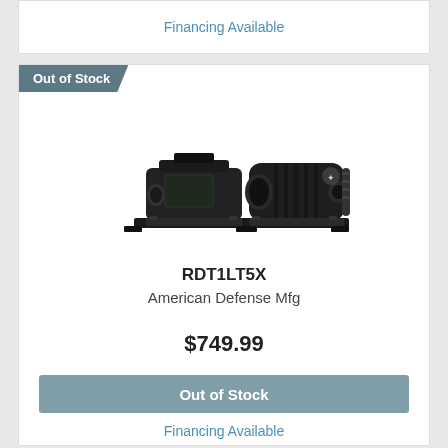Financing Available
[Figure (photo): Product photo of RDT1LT5X red dot sight and magnifier combo by American Defense Mfg, black tactical optics on quick-detach mounts]
RDT1LT5X
American Defense Mfg
$749.99
Out of Stock
Financing Available